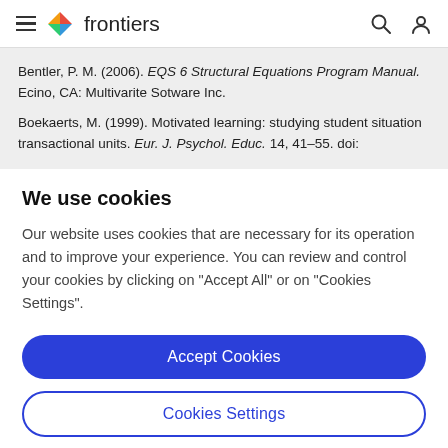frontiers
Bentler, P. M. (2006). EOS 6 Structural Equations Program Manual. Ecino, CA: Multivarite Sotware Inc.
Boekaerts, M. (1999). Motivated learning: studying student situation transactional units. Eur. J. Psychol. Educ. 14, 41–55. doi:
We use cookies
Our website uses cookies that are necessary for its operation and to improve your experience. You can review and control your cookies by clicking on "Accept All" or on "Cookies Settings".
Accept Cookies
Cookies Settings